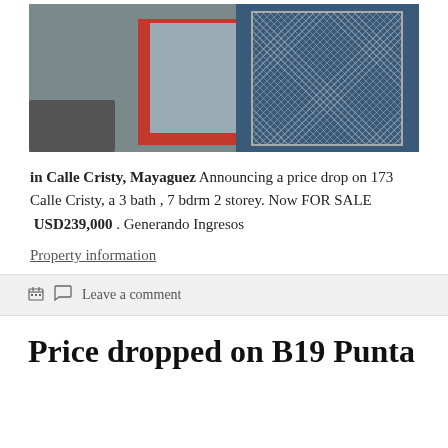[Figure (photo): Exterior photo of a multi-story building with gray facade, red-framed window, and ornate white iron gate on the right side. A car is visible on the left. Blue and gray color scheme.]
in Calle Cristy, Mayaguez Announcing a price drop on 173 Calle Cristy, a 3 bath , 7 bdrm 2 storey. Now FOR SALE  USD239,000 . Generando Ingresos
Property information
Leave a comment
Price dropped on B19 Punta